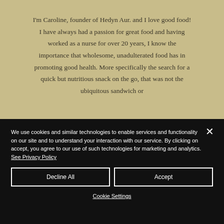I'm Caroline, founder of Hedyn Aur. and I love good food! I have always had a passion for great food and having worked as a nurse for over 20 years, I know the importance that wholesome, unadulterated food has in promoting good health. More specifically the search for a quick but nutritious snack on the go, that was not the ubiquitous sandwich or
We use cookies and similar technologies to enable services and functionality on our site and to understand your interaction with our service. By clicking on accept, you agree to our use of such technologies for marketing and analytics. See Privacy Policy
Decline All
Accept
Cookie Settings